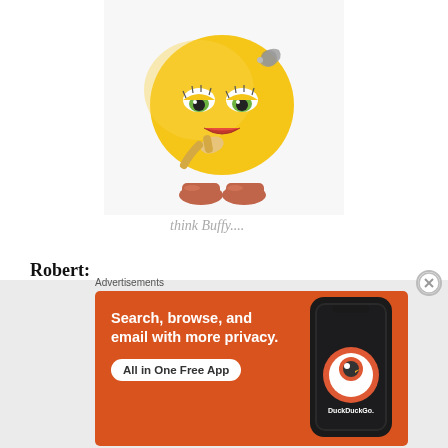[Figure (illustration): 3D cartoon emoji character: yellow ball head with eyelashes, red lips, hand on chin in thinking pose, wearing brownish-red shoes]
think Buffy....
Robert:
Perhaps, think things through, know if her heart is in the right place in terms of anger, giving a
[Figure (screenshot): DuckDuckGo advertisement: orange background with text 'Search, browse, and email with more privacy. All in One Free App' with DuckDuckGo logo and phone mockup on the right]